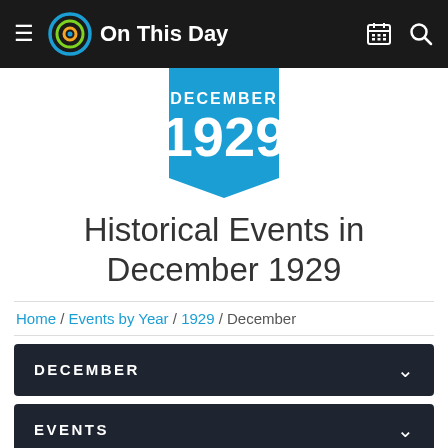On This Day
[Figure (other): Blue bookmark/badge shape with 'DECEMBER' and '1929' text in white]
Historical Events in December 1929
Home / Events by Year / 1929 / December
DECEMBER
EVENTS